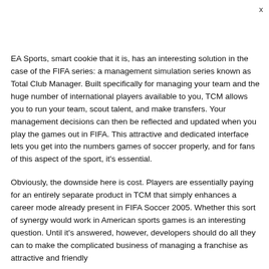x
EA Sports, smart cookie that it is, has an interesting solution in the case of the FIFA series: a management simulation series known as Total Club Manager. Built specifically for managing your team and the huge number of international players available to you, TCM allows you to run your team, scout talent, and make transfers. Your management decisions can then be reflected and updated when you play the games out in FIFA. This attractive and dedicated interface lets you get into the numbers games of soccer properly, and for fans of this aspect of the sport, it's essential.
Obviously, the downside here is cost. Players are essentially paying for an entirely separate product in TCM that simply enhances a career mode already present in FIFA Soccer 2005. Whether this sort of synergy would work in American sports games is an interesting question. Until it's answered, however, developers should do all they can to make the complicated business of managing a franchise as attractive and friendly